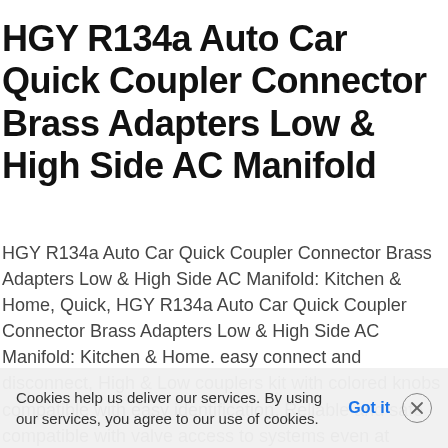HGY R134a Auto Car Quick Coupler Connector Brass Adapters Low & High Side AC Manifold
HGY R134a Auto Car Quick Coupler Connector Brass Adapters Low & High Side AC Manifold: Kitchen & Home, Quick, HGY R134a Auto Car Quick Coupler Connector Brass Adapters Low & High Side AC Manifold: Kitchen & Home. easy connect and disconnect, High & Low couplers kit with colored knobs compatible with easy identification, Reliable and safe compatible with valve access to systems even at working
Cookies help us deliver our services. By using our services, you agree to our use of cookies. Got it